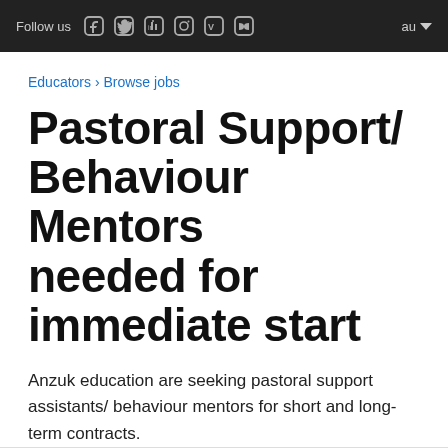Follow us  au
Educators › Browse jobs
Pastoral Support/ Behaviour Mentors needed for immediate start
Anzuk education are seeking pastoral support assistants/ behaviour mentors for short and long-term contracts.